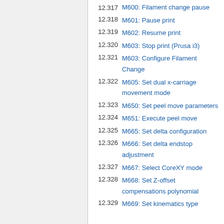12.317 M600: Filament change pause
12.318 M601: Pause print
12.319 M602: Resume print
12.320 M603: Stop print (Prusa i3)
12.321 M603: Configure Filament Change
12.322 M605: Set dual x-carriage movement mode
12.323 M650: Set peel move parameters
12.324 M651: Execute peel move
12.325 M665: Set delta configuration
12.326 M666: Set delta endstop adjustment
12.327 M667: Select CoreXY mode
12.328 M668: Set Z-offset compensations polynomial
12.329 M669: Set kinematics type